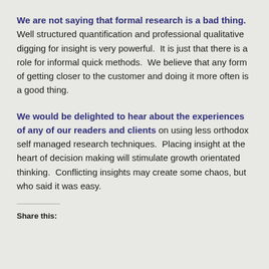We are not saying that formal research is a bad thing. Well structured quantification and professional qualitative digging for insight is very powerful. It is just that there is a role for informal quick methods. We believe that any form of getting closer to the customer and doing it more often is a good thing.
We would be delighted to hear about the experiences of any of our readers and clients on using less orthodox self managed research techniques. Placing insight at the heart of decision making will stimulate growth orientated thinking. Conflicting insights may create some chaos, but who said it was easy.
Share this: